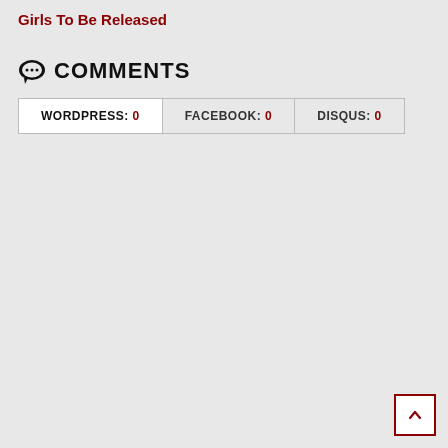Girls To Be Released
COMMENTS
WORDPRESS: 0    FACEBOOK: 0    DISQUS: 0